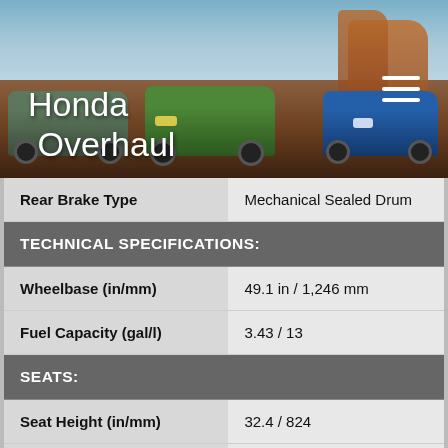[Figure (photo): Header photo showing three Honda ATVs (one silver-green, one green, one blue) parked on rocky red desert terrain with red rock formations in the background. Overlaid with 'Honda Overhaul' logo text in white and a hamburger menu icon.]
| Rear Brake Type | Mechanical Sealed Drum |
| TECHNICAL SPECIFICATIONS: |  |
| Wheelbase (in/mm) | 49.1 in / 1,246 mm |
| Fuel Capacity (gal/l) | 3.43 / 13 |
| SEATS: |  |
| Seat Height (in/mm) | 32.4 / 824 |
| Number Of Seats | 1 |
| DRIVE LINE: |  |